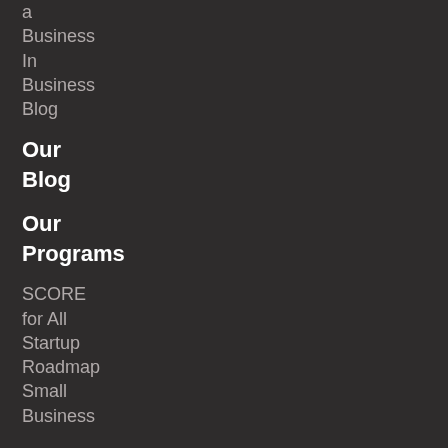a
Business
In
Business
Blog
Our Blog
Our Programs
SCORE
for All
Startup
Roadmap
Small
Business